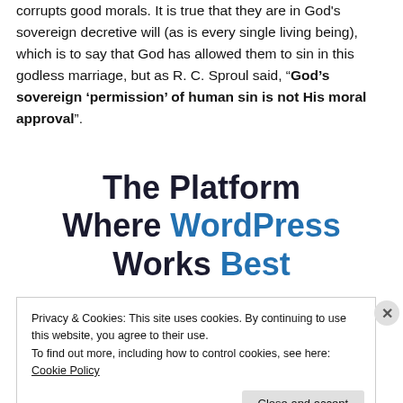corrupts good morals. It is true that they are in God's sovereign decretive will (as is every single living being), which is to say that God has allowed them to sin in this godless marriage, but as R. C. Sproul said, “God’s sovereign ‘permission’ of human sin is not His moral approval”.
[Figure (other): Advertisement banner: 'The Platform Where WordPress Works Best']
Privacy & Cookies: This site uses cookies. By continuing to use this website, you agree to their use.
To find out more, including how to control cookies, see here: Cookie Policy